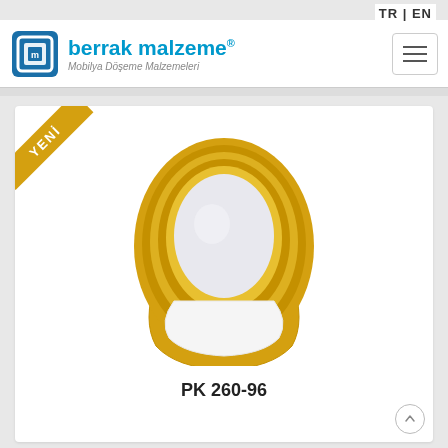TR | EN
[Figure (logo): Berrak Malzeme logo with blue square icon and brand name 'berrak malzeme' in blue with subtitle 'Mobilya Döşeme Malzemeleri' in italic. Hamburger menu button on right.]
[Figure (photo): Product photo of an oval mirror with gold/yellow frame and white base stand, on white background. 'YENİ' (New) badge in gold on top-left corner.]
PK 260-96